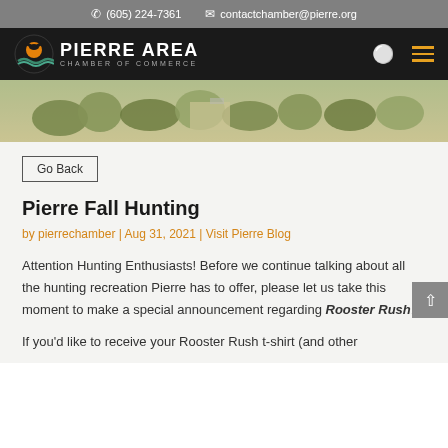(605) 224-7361  contactchamber@pierre.org
[Figure (logo): Pierre Area Chamber of Commerce logo with circular bird/sunset icon and text 'PIERRE AREA CHAMBER OF COMMERCE']
[Figure (photo): Aerial or elevated view of Pierre city skyline with trees and buildings, used as hero banner image]
Go Back
Pierre Fall Hunting
by pierrechamber | Aug 31, 2021 | Visit Pierre Blog
Attention Hunting Enthusiasts! Before we continue talking about all the hunting recreation Pierre has to offer, please let us take this moment to make a special announcement regarding Rooster Rush.
If you'd like to receive your Rooster Rush t-shirt (and other